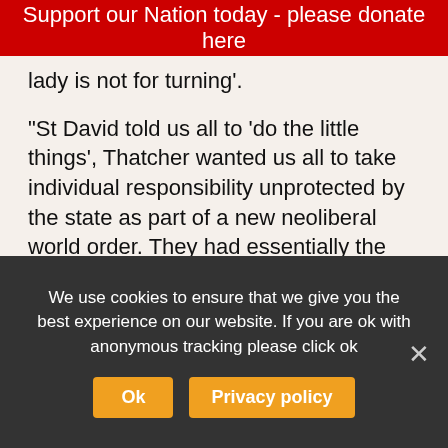Support our Nation today - please donate here
lady is not for turning'.
“St David told us all to ‘do the little things’, Thatcher wanted us all to take individual responsibility unprotected by the state as part of a new neoliberal world order. They had essentially the same political world view.”
However, George Wally MP said that it might not do to have the newly combined St Margaret’s Day on March 1 as the weather would not allow open-air events such as pageants, quoits and Thatcher’s f...
We use cookies to ensure that we give you the best experience on our website. If you are ok with anonymous tracking please click ok
Ok
Privacy policy